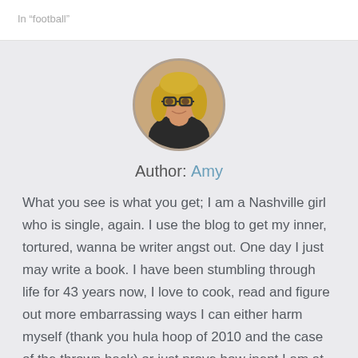In “football”
[Figure (photo): Circular profile photo of a woman with blonde hair and glasses]
Author: Amy
What you see is what you get; I am a Nashville girl who is single, again. I use the blog to get my inner, tortured, wanna be writer angst out. One day I just may write a book. I have been stumbling through life for 43 years now, I love to cook, read and figure out more embarrassing ways I can either harm myself (thank you hula hoop of 2010 and the case of the thrown back) or just prove how inept I am at